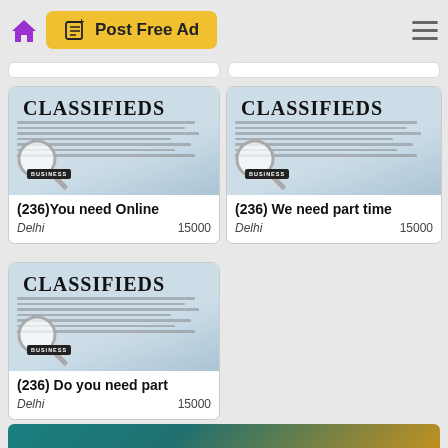[Figure (screenshot): Mobile app navigation bar with home icon, Post Free Ad yellow button, and hamburger menu]
[Figure (photo): Classifieds newspaper ad card: (236)You need Online, Delhi, 15000]
[Figure (photo): Classifieds newspaper ad card: (236) We need part time, Delhi, 15000]
[Figure (photo): Classifieds newspaper ad card: (236) Do you need part, Delhi, 15000]
[Figure (photo): Partial teal/gold image card at bottom]